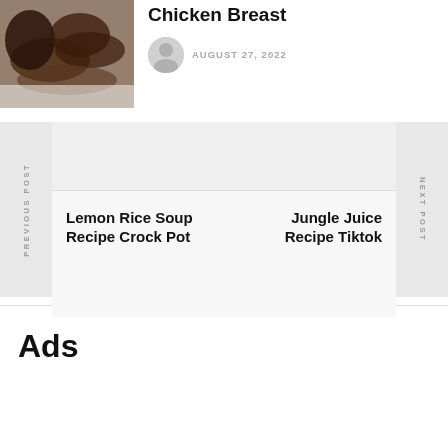[Figure (photo): Grilled or smoked meat pieces on a plate, food photo]
Chicken Breast
AUGUST 27, 2022
Lemon Rice Soup Recipe Crock Pot
Jungle Juice Recipe Tiktok
Ads